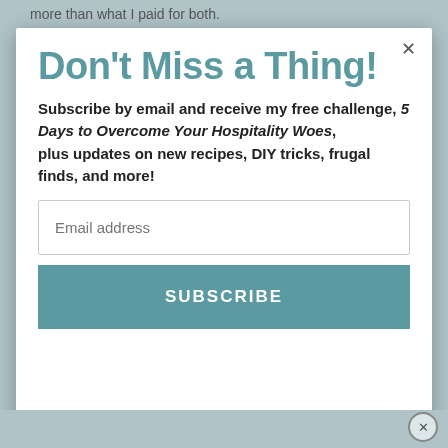more than what I paid for both.
Don't Miss a Thing!
Subscribe by email and receive my free challenge, 5 Days to Overcome Your Hospitality Woes, plus updates on new recipes, DIY tricks, frugal finds, and more!